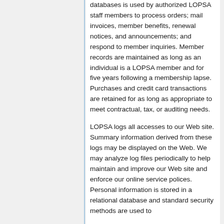databases is used by authorized LOPSA staff members to process orders; mail invoices, member benefits, renewal notices, and announcements; and respond to member inquiries. Member records are maintained as long as an individual is a LOPSA member and for five years following a membership lapse. Purchases and credit card transactions are retained for as long as appropriate to meet contractual, tax, or auditing needs.
LOPSA logs all accesses to our Web site. Summary information derived from these logs may be displayed on the Web. We may analyze log files periodically to help maintain and improve our Web site and enforce our online service polices. Personal information is stored in a relational database and standard security methods are used to